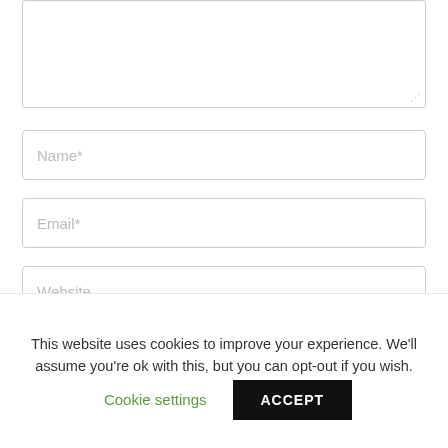[Figure (screenshot): A textarea input box with resize handle at bottom-right]
Name*
Email*
Website
5 MAN
This website uses cookies to improve your experience. We'll assume you're ok with this, but you can opt-out if you wish.
Cookie settings
ACCEPT